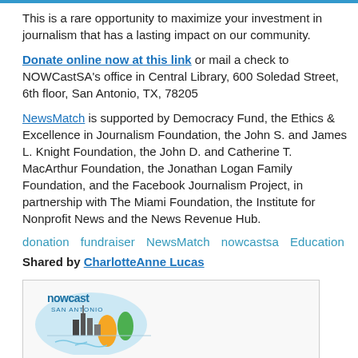This is a rare opportunity to maximize your investment in journalism that has a lasting impact on our community.
Donate online now at this link or mail a check to NOWCastSA's office in Central Library, 600 Soledad Street, 6th floor, San Antonio, TX, 78205
NewsMatch is supported by Democracy Fund, the Ethics & Excellence in Journalism Foundation, the John S. and James L. Knight Foundation, the John D. and Catherine T. MacArthur Foundation, the Jonathan Logan Family Foundation, and the Facebook Journalism Project, in partnership with The Miami Foundation, the Institute for Nonprofit News and the News Revenue Hub.
donation  fundraiser  NewsMatch  nowcastsa  Education
Shared by CharlotteAnne Lucas
[Figure (logo): NOWCast San Antonio logo — circular blue background with city skyline silhouette and colorful shapes, text reads 'nowcast san antonio']